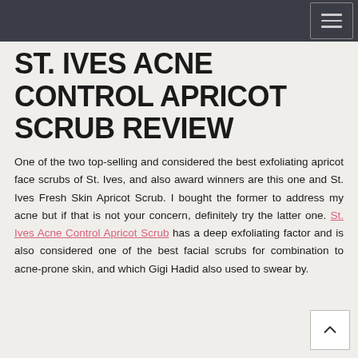ST. IVES ACNE CONTROL APRICOT SCRUB REVIEW
One of the two top-selling and considered the best exfoliating apricot face scrubs of St. Ives, and also award winners are this one and St. Ives Fresh Skin Apricot Scrub. I bought the former to address my acne but if that is not your concern, definitely try the latter one. St. Ives Acne Control Apricot Scrub has a deep exfoliating factor and is also considered one of the best facial scrubs for combination to acne-prone skin, and which Gigi Hadid also used to swear by.
However, St. Ives Acne Control Apricot